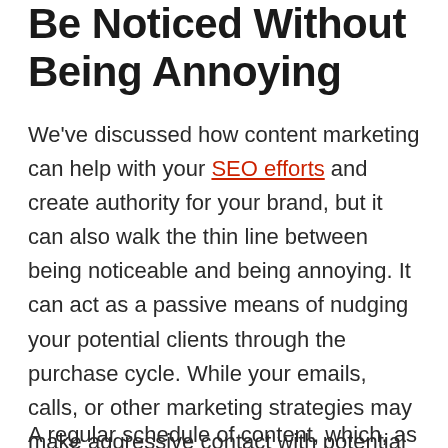Be Noticed Without Being Annoying
We've discussed how content marketing can help with your SEO efforts and create authority for your brand, but it can also walk the thin line between being noticeable and being annoying. It can act as a passive means of nudging your potential clients through the purchase cycle. While your emails, calls, or other marketing strategies may make aggressive contact with potential customers, it's your content marketing efforts that can serve as gentle reminders that you exist.
A regular schedule of content, which, as discussed